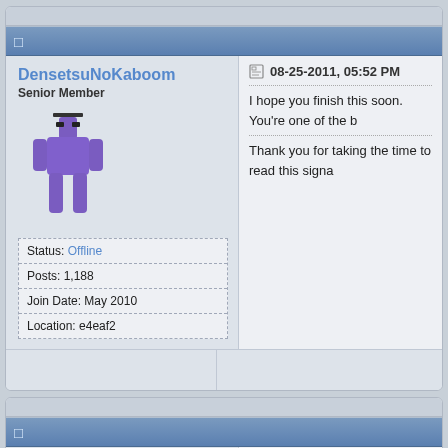DensetsuNoKaboom
Senior Member
Status: Offline
Posts: 1,188
Join Date: May 2010
Location: e4eaf2
08-25-2011, 05:52 PM
I hope you finish this soon. You're one of the b
Thank you for taking the time to read this signa
x2495iiii
Super Moderator
08-26-2011, 12:09 AM
Quote: